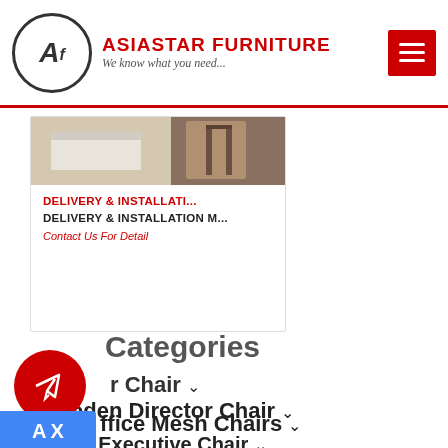ASIASTAR FURNITURE — We know what you need...
[Figure (photo): Partial product image showing furniture/shelving in a room setting]
DELIVERY & INSTALLATI...
DELIVERY & INSTALLATION M...
Contact Us For Detail
Categories
Director Chair
Wooden Director Chair
Office Mesh Chairs
Office Executive Chair